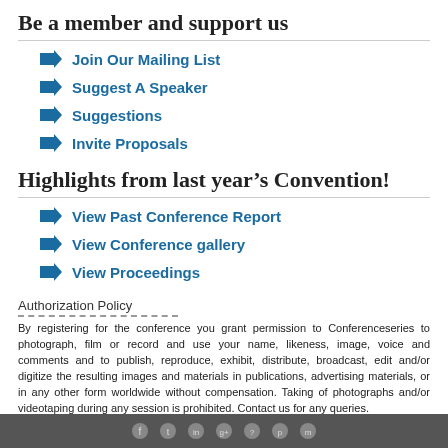Be a member and support us
Join Our Mailing List
Suggest A Speaker
Suggestions
Invite Proposals
Highlights from last year’s Convention!
View Past Conference Report
View Conference gallery
View Proceedings
Authorization Policy
By registering for the conference you grant permission to Conferenceseries to photograph, film or record and use your name, likeness, image, voice and comments and to publish, reproduce, exhibit, distribute, broadcast, edit and/or digitize the resulting images and materials in publications, advertising materials, or in any other form worldwide without compensation. Taking of photographs and/or videotaping during any session is prohibited. Contact us for any queries.
Social media icons bar